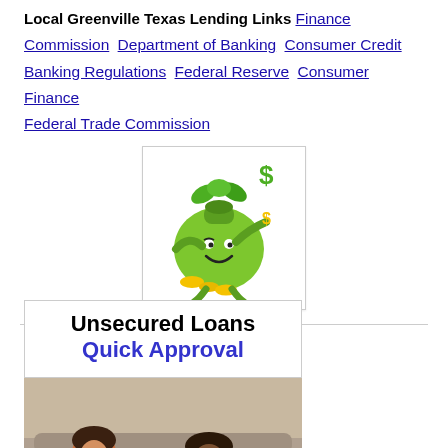Local Greenville Texas Lending Links Finance Commission Department of Banking Consumer Credit Banking Regulations Federal Reserve Consumer Finance Federal Trade Commission
[Figure (illustration): Green cartoon money bag mascot character with a smiley face, winking, holding dollar signs, with coins at the base]
[Figure (infographic): Advertisement banner showing 'Unsecured Loans Quick Approval' text above a photo of a smiling couple lying on the floor]